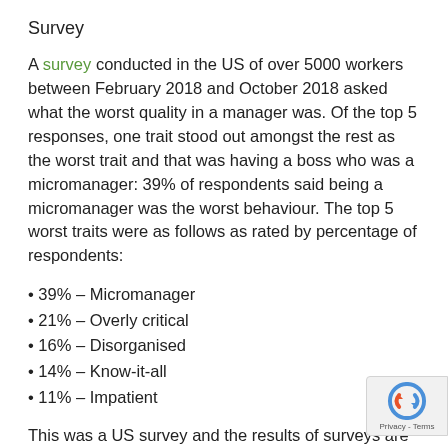Survey
A survey conducted in the US of over 5000 workers between February 2018 and October 2018 asked what the worst quality in a manager was. Of the top 5 responses, one trait stood out amongst the rest as the worst trait and that was having a boss who was a micromanager: 39% of respondents said being a micromanager was the worst behaviour. The top 5 worst traits were as follows as rated by percentage of respondents:
39% – Micromanager
21% – Overly critical
16% – Disorganised
14% – Know-it-all
11% – Impatient
This was a US survey and the results of surveys are as good as the questions asked and the nature of the sample, however, it is reasonable to assume that the